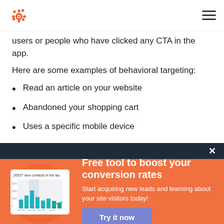HubSpot logo and navigation
users or people who have clicked any CTA in the app.
Here are some examples of behavioral targeting:
Read an article on your website
Abandoned your shopping cart
Uses a specific mobile device
[Figure (screenshot): HubSpot popup banner with orange background showing a bar chart graphic and text: 'Free tool to boost your conversion rates. Start acquiring new leads and learning about your site visitors today!' with a 'Try it now' button. Chart shows '20537 new contacts in the last...' with teal bar chart visualization.]